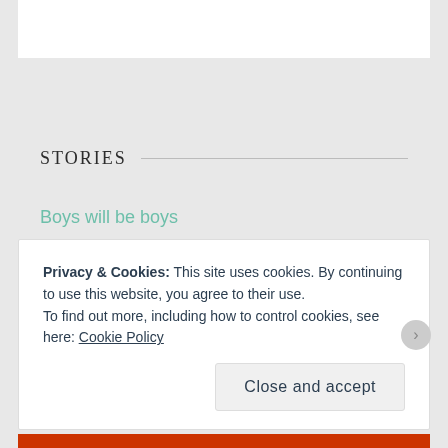STORIES
Boys will be boys
Two Iraqis in Amsterdam
HUMANS OF IRAQ
Privacy & Cookies: This site uses cookies. By continuing to use this website, you agree to their use.
To find out more, including how to control cookies, see here: Cookie Policy
Close and accept